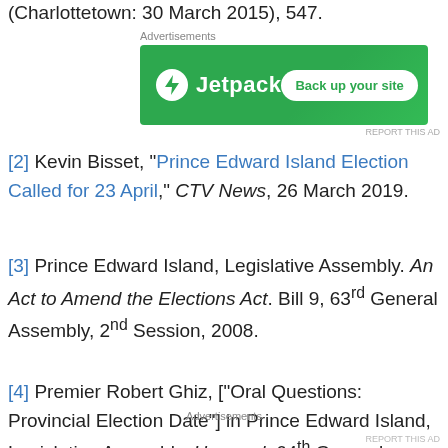(Charlottetown: 30 March 2015), 547.
[Figure (other): Jetpack advertisement banner: green background with Jetpack logo and 'Back up your site' button]
[2] Kevin Bisset, “Prince Edward Island Election Called for 23 April,” CTV News, 26 March 2019.
[3] Prince Edward Island, Legislative Assembly. An Act to Amend the Elections Act. Bill 9, 63rd General Assembly, 2nd Session, 2008.
[4] Premier Robert Ghiz, [“Oral Questions: Provincial Election Date”] in Prince Edward Island, Legislative Assembly. Hansard, 64th General Assembly, 4th Session,
[Figure (other): Advertisements label at bottom of page]